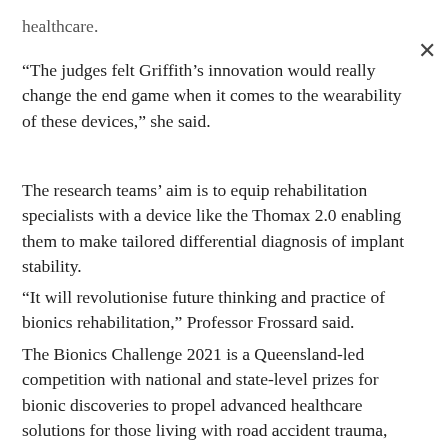healthcare.
“The judges felt Griffith’s innovation would really change the end game when it comes to the wearability of these devices,” she said.
The research teams’ aim is to equip rehabilitation specialists with a device like the Thomax 2.0 enabling them to make tailored differential diagnosis of implant stability.
“It will revolutionise future thinking and practice of bionics rehabilitation,” Professor Frossard said.
The Bionics Challenge 2021 is a Queensland-led competition with national and state-level prizes for bionic discoveries to propel advanced healthcare solutions for those living with road accident trauma, chronic conditions, diseases, and disabilities.